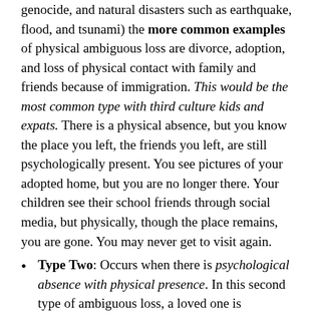genocide, and natural disasters such as earthquake, flood, and tsunami) the more common examples of physical ambiguous loss are divorce, adoption, and loss of physical contact with family and friends because of immigration. This would be the most common type with third culture kids and expats. There is a physical absence, but you know the place you left, the friends you left, are still psychologically present. You see pictures of your adopted home, but you are no longer there. Your children see their school friends through social media, but physically, though the place remains, you are gone. You may never get to visit again.
Type Two: Occurs when there is psychological absence with physical presence. In this second type of ambiguous loss, a loved one is psychologically absent—that is, emotionally or cognitively gone or missing. Such ambiguous loss